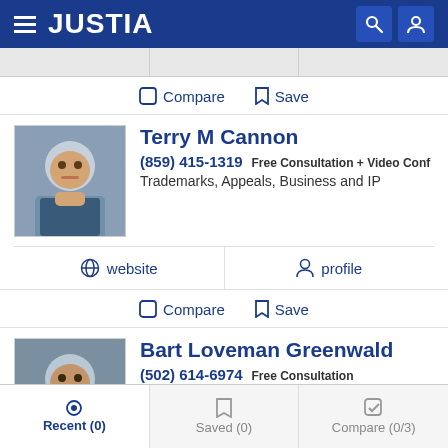[Figure (screenshot): Justia website header with hamburger menu, Justia logo, search icon, and user icon on dark blue background]
Compare   Save
[Figure (photo): Professional headshot of Terry M Cannon, attorney]
Terry M Cannon
(859) 415-1319 Free Consultation + Video Conf
Trademarks, Appeals, Business and IP
website   profile
Compare   Save
[Figure (photo): Professional headshot of Bart Loveman Greenwald, attorney]
Bart Loveman Greenwald
(502) 614-6974 Free Consultation
Trademarks, Appeals, Business and Products Liability
Recent (0)   Saved (0)   Compare (0/3)